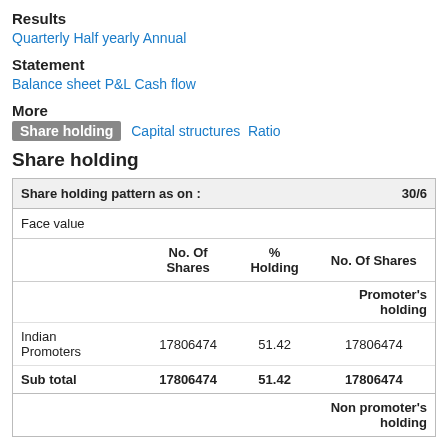Results
Quarterly  Half yearly  Annual
Statement
Balance sheet  P&L  Cash flow
More
Share holding  Capital structures  Ratio
Share holding
|  | No. Of Shares | % Holding | No. Of Shares |
| --- | --- | --- | --- |
| Share holding pattern as on : |  |  | 30/0... |
| Face value |  |  |  |
|  | No. Of Shares | % Holding | No. Of Shares |
|  |  |  | Promoter's holding |
| Indian Promoters | 17806474 | 51.42 | 17806474 |
| Sub total | 17806474 | 51.42 | 17806474 |
|  |  |  | Non promoter's holding |